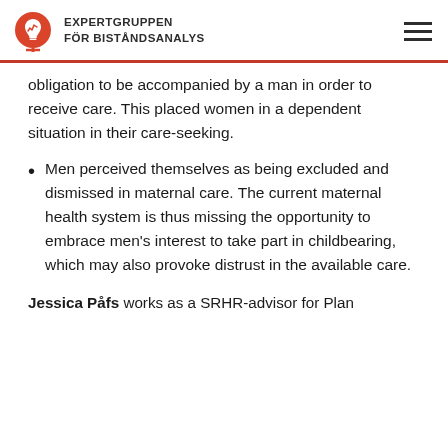EXPERTGRUPPEN FÖR BISTÅNDSANALYS
obligation to be accompanied by a man in order to receive care. This placed women in a dependent situation in their care-seeking.
Men perceived themselves as being excluded and dismissed in maternal care. The current maternal health system is thus missing the opportunity to embrace men's interest to take part in childbearing, which may also provoke distrust in the available care.
Jessica Påfs works as a SRHR-advisor for Plan